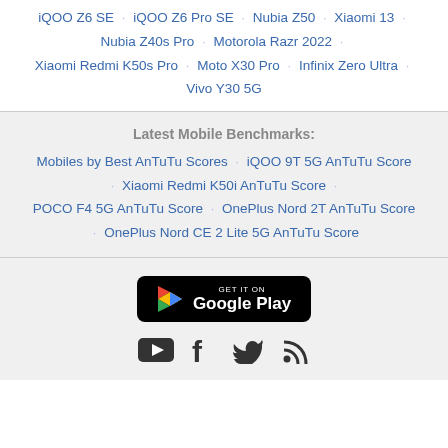iQOO Z6 SE · iQOO Z6 Pro SE · Nubia Z50 · Xiaomi 13 · Nubia Z40s Pro · Motorola Razr 2022 · Xiaomi Redmi K50s Pro · Moto X30 Pro · Infinix Zero Ultra · Vivo Y30 5G
Latest Mobile Benchmarks:
Mobiles by Best AnTuTu Scores · iQOO 9T 5G AnTuTu Score · Xiaomi Redmi K50i AnTuTu Score · POCO F4 5G AnTuTu Score · OnePlus Nord 2T AnTuTu Score · OnePlus Nord CE 2 Lite 5G AnTuTu Score
[Figure (logo): Get it on Google Play button]
[Figure (infographic): Social media icons: YouTube, Facebook, Twitter, RSS feed]